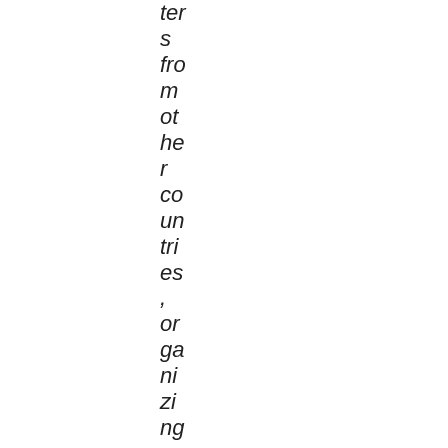ters from other countries, organizing